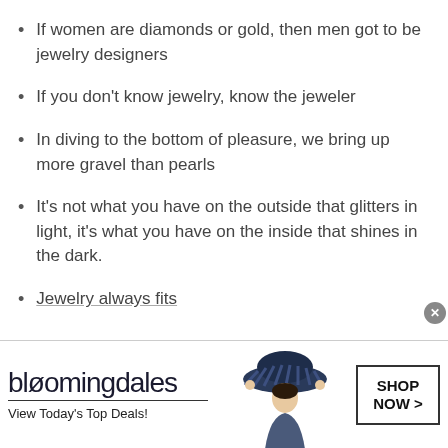If women are diamonds or gold, then men got to be jewelry designers
If you don't know jewelry, know the jeweler
In diving to the bottom of pleasure, we bring up more gravel than pearls
It's not what you have on the outside that glitters in light, it's what you have on the inside that shines in the dark.
Jewelry always fits
[Figure (infographic): Bloomingdale's advertisement banner. Text reads: 'bloomingdales' with underline, 'View Today's Top Deals!' on the left. Center shows a woman wearing a large blue hat. Right side has a bordered box reading 'SHOP NOW >']